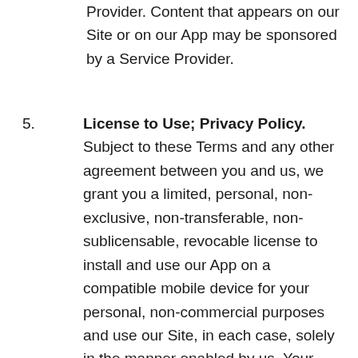Provider. Content that appears on our Site or on our App may be sponsored by a Service Provider.
5. License to Use; Privacy Policy. Subject to these Terms and any other agreement between you and us, we grant you a limited, personal, non-exclusive, non-transferable, non-sublicensable, revocable license to install and use our App on a compatible mobile device for your personal, non-commercial purposes and use our Site, in each case, solely in the manner enabled by us. Your license to use our Services is automatically revoked if you violate these